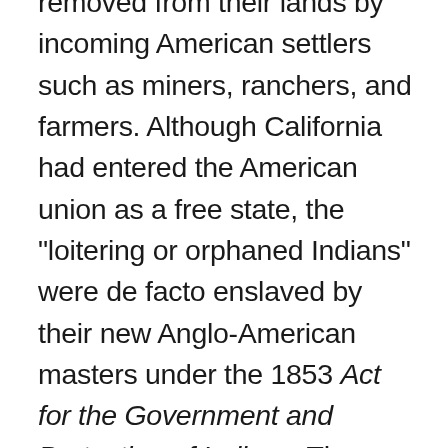removed from their lands by incoming American settlers such as miners, ranchers, and farmers. Although California had entered the American union as a free state, the "loitering or orphaned Indians" were de facto enslaved by their new Anglo-American masters under the 1853 Act for the Government and Protection of Indians. There were also massacres in which hundreds of indigenous people were killed. Between 1850 and 1860, the California state government paid around 1.5 million dollars (some 250,000 of which was reimbursed by the federal government) to hire militias whose purpose was to protect settlers from the indigenous populations. In later decades, the